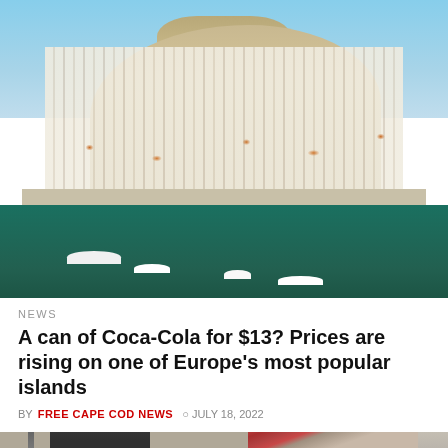[Figure (photo): Aerial view of Ibiza town with white buildings, harbor with boats, fortress on a hill, and blue Mediterranean sea]
NEWS
A can of Coca-Cola for $13? Prices are rising on one of Europe's most popular islands
BY FREE CAPE COD NEWS  JULY 18, 2022
[Figure (photo): Two people meeting: an older man (left, Biden) and a man in traditional Arab dress with red-and-white keffiyeh (right)]